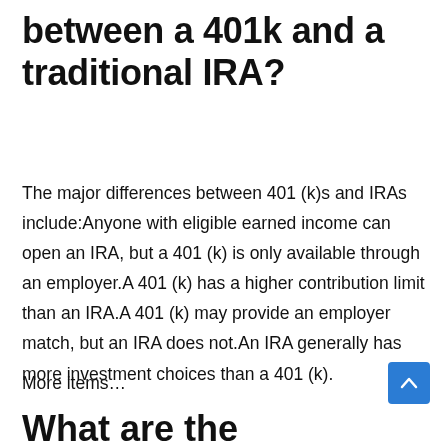between a 401k and a traditional IRA?
The major differences between 401 (k)s and IRAs include:Anyone with eligible earned income can open an IRA, but a 401 (k) is only available through an employer.A 401 (k) has a higher contribution limit than an IRA.A 401 (k) may provide an employer match, but an IRA does not.An IRA generally has more investment choices than a 401 (k).
More items…
What are the advantages of a